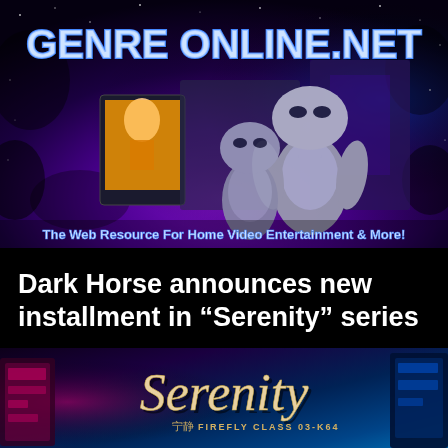[Figure (illustration): GenreOnline.net website banner header with space/galaxy background, two gray alien figures, a TV screen showing a woman, and the site logo text 'GENRE ONLINE.NET' with tagline 'The Web Resource For Home Video Entertainment & More!']
Dark Horse announces new installment in “Serenity” series
[Figure (illustration): Serenity Firefly Class 03-K64 logo/banner with space background showing the word 'Serenity' in stylized italic text with Chinese characters 宁静 and 'FIREFLY CLASS 03-K64' subtitle]